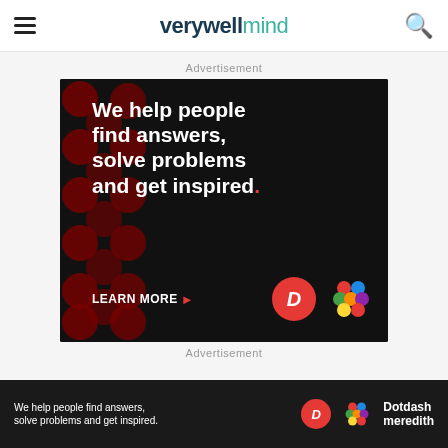verywell mind
Advertisement
[Figure (illustration): Dark advertisement banner with polka dot background pattern. White bold text reads: We help people find answers, solve problems and get inspired. with a red period. LEARN MORE button with arrow. Dotdash red D logo and colorful Meredith logo shown at bottom right.]
Advertisement
[Figure (illustration): Bottom advertisement bar with same message: We help people find answers, solve problems and get inspired. Dotdash Meredith logo shown on right side. Ad label in top right corner.]